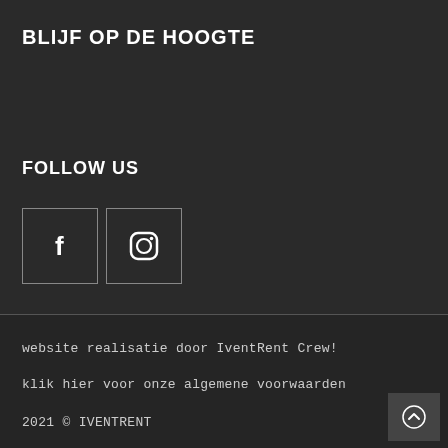BLIJF OP DE HOOGTE
FOLLOW US
[Figure (other): Two social media icon boxes: Facebook (f) and Instagram (camera icon), each in a square border]
website realisatie door IventRent Crew!
klik hier voor onze algemene voorwaarden
2021 © IVENTRENT